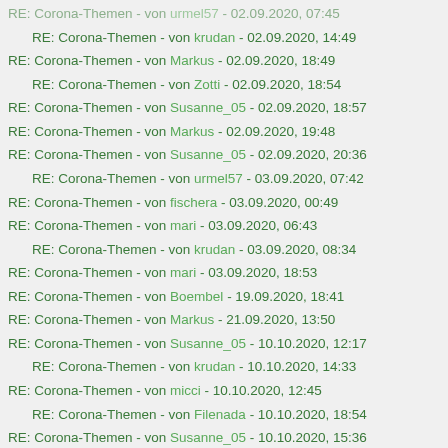RE: Corona-Themen - von urmel57 - 02.09.2020, 07:45
RE: Corona-Themen - von krudan - 02.09.2020, 14:49
RE: Corona-Themen - von Markus - 02.09.2020, 18:49
RE: Corona-Themen - von Zotti - 02.09.2020, 18:54
RE: Corona-Themen - von Susanne_05 - 02.09.2020, 18:57
RE: Corona-Themen - von Markus - 02.09.2020, 19:48
RE: Corona-Themen - von Susanne_05 - 02.09.2020, 20:36
RE: Corona-Themen - von urmel57 - 03.09.2020, 07:42
RE: Corona-Themen - von fischera - 03.09.2020, 00:49
RE: Corona-Themen - von mari - 03.09.2020, 06:43
RE: Corona-Themen - von krudan - 03.09.2020, 08:34
RE: Corona-Themen - von mari - 03.09.2020, 18:53
RE: Corona-Themen - von Boembel - 19.09.2020, 18:41
RE: Corona-Themen - von Markus - 21.09.2020, 13:50
RE: Corona-Themen - von Susanne_05 - 10.10.2020, 12:17
RE: Corona-Themen - von krudan - 10.10.2020, 14:33
RE: Corona-Themen - von micci - 10.10.2020, 12:45
RE: Corona-Themen - von Filenada - 10.10.2020, 18:54
RE: Corona-Themen - von Susanne_05 - 10.10.2020, 15:36
RE: Corona-Themen - von Susanne_05 - 11.10.2020, 08:18
RE: Corona-Themen - von Filenada - 11.10.2020, 10:17
RE: Corona-Themen - von Susanne_05 - 11.10.2020, 10:26
RE: Corona-Themen - von fischera - 22.10.2020, 01:13
RE: Corona-Themen - von Besi - 22.10.2020, 04:26